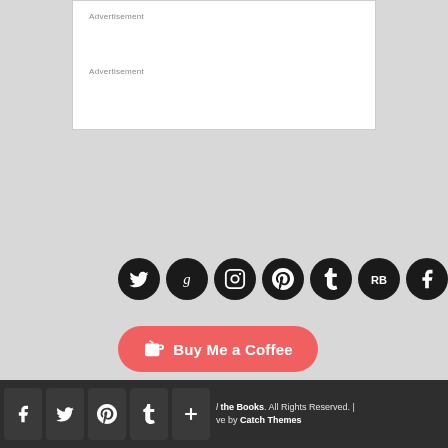Advertisement
Advertisement
[Figure (other): Row of 8 social media icon circles (Twitter, Goodreads, Instagram, Pinterest, Tumblr, Redbubble, Facebook, Society6) on dark circular backgrounds]
[Figure (other): Buy Me a Coffee button - salmon/coral rounded rectangle with coffee cup icon and text 'Buy Me a Coffee']
l the Books. All Rights Reserved. | ve by Catch Themes — with Facebook, Twitter, Pinterest, Tumblr, and plus social share icons